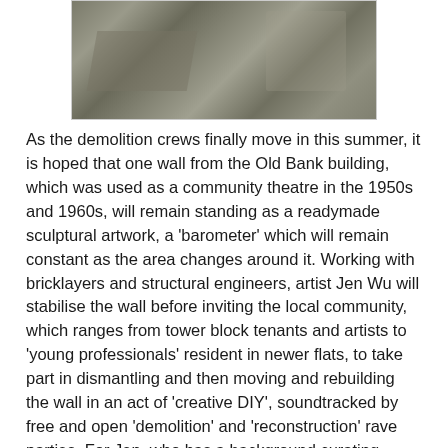[Figure (photo): Photograph showing cracked and weathered stone pavement or ground surface, with weeds growing between broken slabs, viewed from above at an angle.]
As the demolition crews finally move in this summer, it is hoped that one wall from the Old Bank building, which was used as a community theatre in the 1950s and 1960s, will remain standing as a readymade sculptural artwork, a 'barometer' which will remain constant as the area changes around it. Working with bricklayers and structural engineers, artist Jen Wu will stabilise the wall before inviting the local community, which ranges from tower block tenants and artists to 'young professionals' resident in newer flats, to take part in dismantling and then moving and rebuilding the wall in an act of 'creative DIY', soundtracked by free and open 'demolition' and 'reconstruction' rave parties. For Jen, who has a background curating projects in London such as transforming major art gallery the ICA into a nightclub, the focus of the project is not just on demolition, but on action, creating a cycle of activity that will help bring people together to celebrate the past at the same time as looking to the future and channelling the DIY spirit which drives places